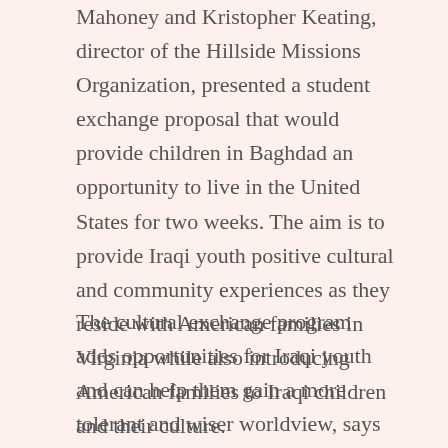Mahoney and Kristopher Keating, director of the Hillside Missions Organization, presented a student exchange proposal that would provide children in Baghdad an opportunity to live in the United States for two weeks. The aim is to provide Iraqi youth positive cultural and community experiences as they reside with American families in Virginia while also introducing American families to Iraqi children and their culture.
The cultural exchange program adds opportunities for Iraqi youth and can help them gain a more tolerant and wiser worldview, says Keating.
Keating says this collaboration is just the first step in what they hope will be a long-term relationship with Iraq.
Salim, who belongs to the Chaldean Christian community, embraced the idea and was willing to work with the U.S.